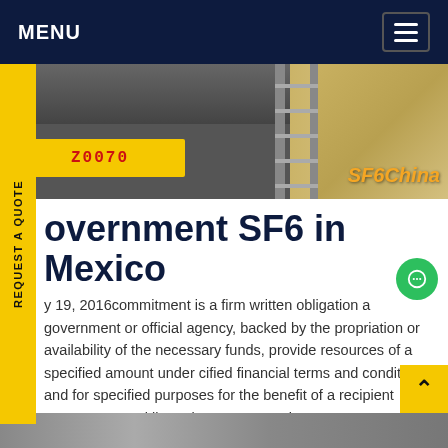MENU
[Figure (photo): Truck with yellow license plate reading Z0070, ladder structure, sandy ground background, SF6China watermark]
Government SF6 in Mexico
y 19, 2016commitment is a firm written obligation a government or official agency, backed by the propriation or availability of the necessary funds, provide resources of a specified amount under cified financial terms and conditions and for specified purposes for the benefit of a recipient country or a multilateral agency.Get price